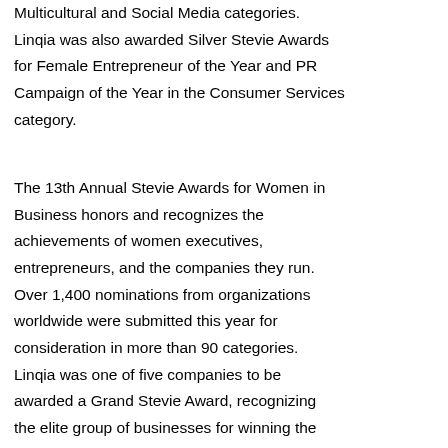Multicultural and Social Media categories. Linqia was also awarded Silver Stevie Awards for Female Entrepreneur of the Year and PR Campaign of the Year in the Consumer Services category.
The 13th Annual Stevie Awards for Women in Business honors and recognizes the achievements of women executives, entrepreneurs, and the companies they run. Over 1,400 nominations from organizations worldwide were submitted this year for consideration in more than 90 categories. Linqia was one of five companies to be awarded a Grand Stevie Award, recognizing the elite group of businesses for winning the most awards in the 2016 competition.